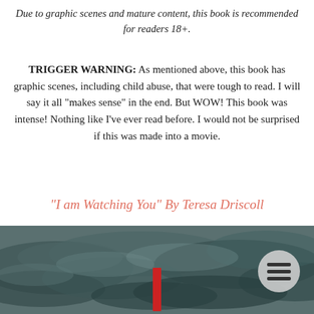Due to graphic scenes and mature content, this book is recommended for readers 18+.
TRIGGER WARNING:  As mentioned above, this book has graphic scenes, including child abuse, that were tough to read.  I will say it all "makes sense" in the end.  But WOW!  This book was intense!  Nothing like I've ever read before.  I would not be surprised if this was made into a movie.
"I am Watching You" By Teresa Driscoll
[Figure (photo): Dark moody cloudy sky photograph in grayscale/teal tones with a red vertical bar in the center and a hamburger menu icon (three horizontal lines) inside a light gray circle in the upper right corner.]